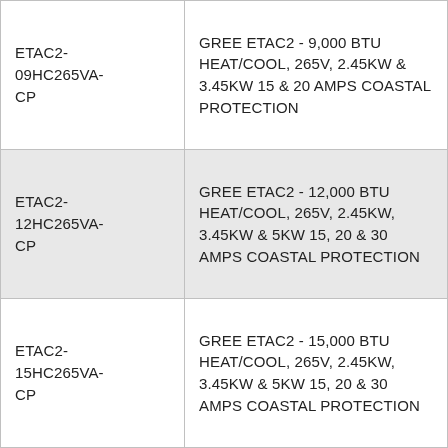| ETAC2-09HC265VA-CP | GREE ETAC2 - 9,000 BTU HEAT/COOL, 265V, 2.45KW & 3.45KW 15 & 20 AMPS COASTAL PROTECTION |
| ETAC2-12HC265VA-CP | GREE ETAC2 - 12,000 BTU HEAT/COOL, 265V, 2.45KW, 3.45KW & 5KW 15, 20 & 30 AMPS COASTAL PROTECTION |
| ETAC2-15HC265VA-CP | GREE ETAC2 - 15,000 BTU HEAT/COOL, 265V, 2.45KW, 3.45KW & 5KW 15, 20 & 30 AMPS COASTAL PROTECTION |